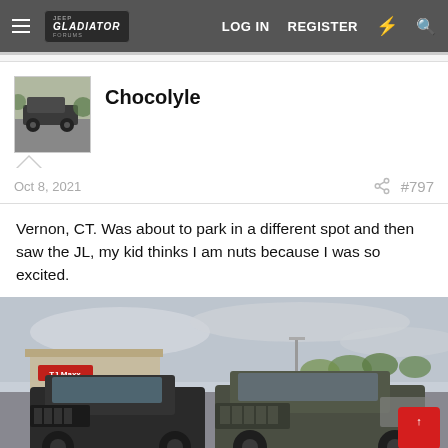LOG IN  REGISTER
Chocolyle
Oct 8, 2021  #797
Vernon, CT. Was about to park in a different spot and then saw the JL, my kid thinks I am nuts because I was so excited.
[Figure (photo): Photo of two Jeep Wranglers parked side by side in a shopping center parking lot, with a TJ Maxx store visible in the background and overcast skies.]